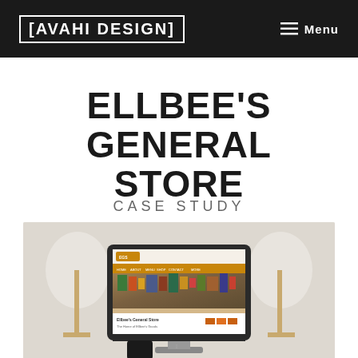AVAHI DESIGN  Menu
ELLBEE'S GENERAL STORE
CASE STUDY
[Figure (screenshot): iMac desktop computer display showing the Ellbee's General Store website, with an orange navigation bar and a store interior photo, flanked by two floor lamps on a light background.]